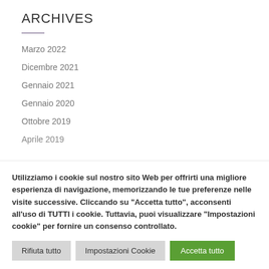ARCHIVES
Marzo 2022
Dicembre 2021
Gennaio 2021
Gennaio 2020
Ottobre 2019
Aprile 2019
Utilizziamo i cookie sul nostro sito Web per offrirti una migliore esperienza di navigazione, memorizzando le tue preferenze nelle visite successive. Cliccando su "Accetta tutto", acconsenti all'uso di TUTTI i cookie. Tuttavia, puoi visualizzare "Impostazioni cookie" per fornire un consenso controllato.
Rifiuta tutto | Impostazioni Cookie | Accetta tutto